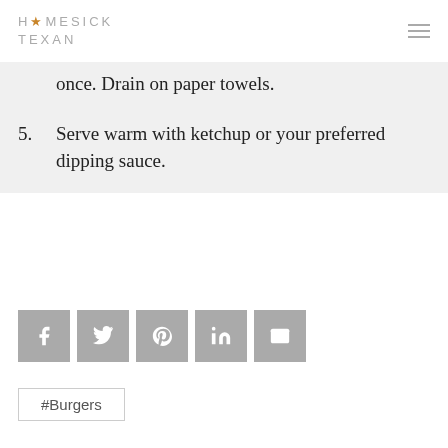HOMESICK TEXAN
once. Drain on paper towels.
5. Serve warm with ketchup or your preferred dipping sauce.
[Figure (infographic): Social share buttons: Facebook, Twitter, Pinterest, LinkedIn, Email]
#Burgers